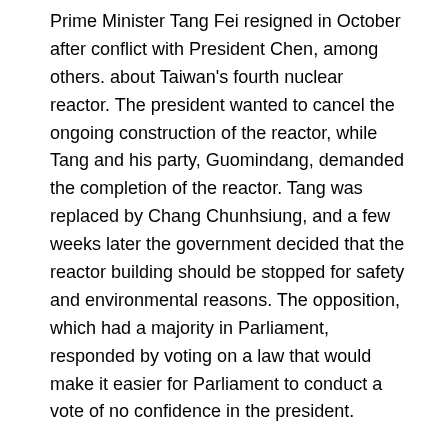Prime Minister Tang Fei resigned in October after conflict with President Chen, among others. about Taiwan's fourth nuclear reactor. The president wanted to cancel the ongoing construction of the reactor, while Tang and his party, Guomindang, demanded the completion of the reactor. Tang was replaced by Chang Chunhsiung, and a few weeks later the government decided that the reactor building should be stopped for safety and environmental reasons. The opposition, which had a majority in Parliament, responded by voting on a law that would make it easier for Parliament to conduct a vote of no confidence in the president.
At the beginning of November, 81 people were killed when a passenger plane crashed in connection with it taking off from Taibei's airport. The pilot chose a runway that was turned off for repair and the plane ran into construction equipment. Very bad weather prevailed at the accident. A hurricane with accompanying rain and flooding swept across Taiwan, killing at least 32 people in the storm.